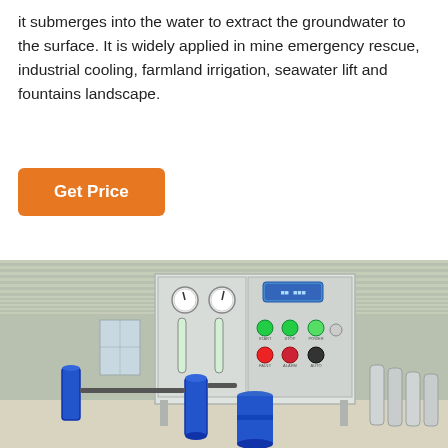it submerges into the water to extract the groundwater to the surface. It is widely applied in mine emergency rescue, industrial cooling, farmland irrigation, seawater lift and fountains landscape.
Get Price
[Figure (photo): Industrial water treatment or reverse osmosis equipment in a factory setting. Shows a control panel with gauges, flow meters, buttons and indicators, and blue filter/pressure vessels below, along with cylindrical stainless steel filter vessels on the right side.]